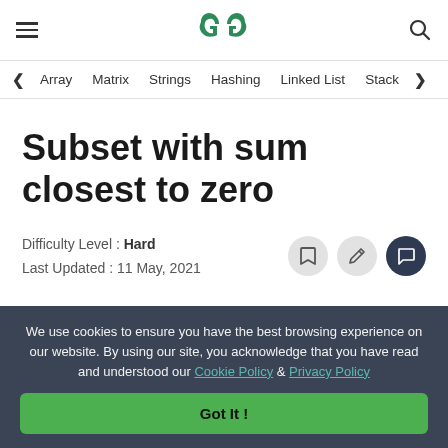GeeksforGeeks header with hamburger menu, GFG logo, and search icon
Array  Matrix  Strings  Hashing  Linked List  Stack
Subset with sum closest to zero
Difficulty Level : Hard
Last Updated : 11 May, 2021
We use cookies to ensure you have the best browsing experience on our website. By using our site, you acknowledge that you have read and understood our Cookie Policy & Privacy Policy
Got It !